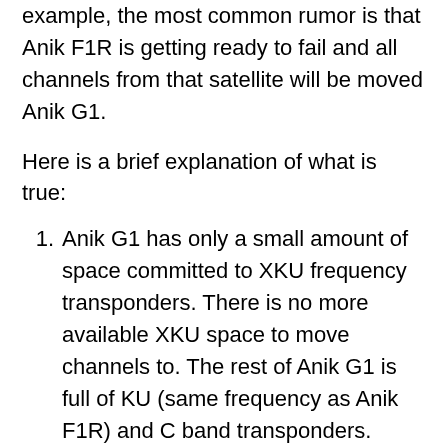example, the most common rumor is that Anik F1R is getting ready to fail and all channels from that satellite will be moved Anik G1.
Here is a brief explanation of what is true:
Anik G1 has only a small amount of space committed to XKU frequency transponders. There is no more available XKU space to move channels to. The rest of Anik G1 is full of KU (same frequency as Anik F1R) and C band transponders. There is no room to expand the XKU frequency transponders.
Shaw has slowly, but surely, been